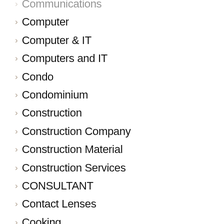Communications
Computer
Computer & IT
Computers and IT
Condo
Condominium
Construction
Construction Company
Construction Material
Construction Services
CONSULTANT
Contact Lenses
Cooking
Cooking Equipment
Cosmetics
Costumes
Counseling